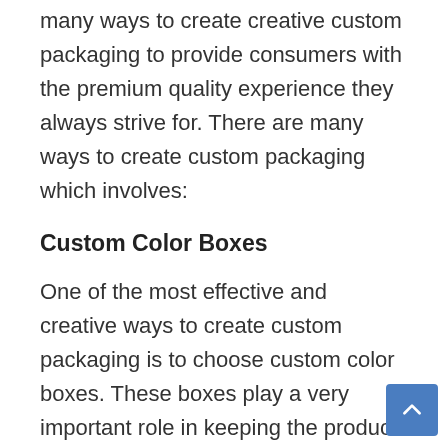many ways to create creative custom packaging to provide consumers with the premium quality experience they always strive for. There are many ways to create custom packaging which involves:
Custom Color Boxes
One of the most effective and creative ways to create custom packaging is to choose custom color boxes. These boxes play a very important role in keeping the product safe and secure and also make it look trendy and creative at the same time. Having the right dimensions of the box according to the shape and size of the product, you can easily top off the packaging with the packing tape and or a customized printing label. You may also opt for a variety of attractive and appealing colors to make your box look super...